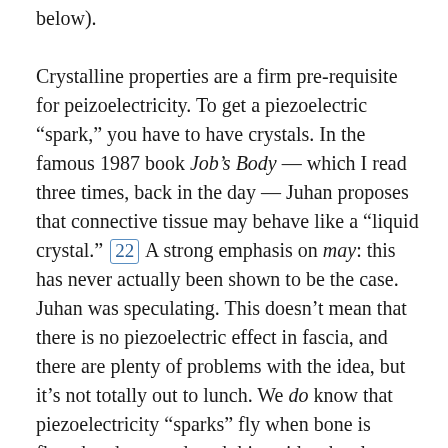below).

Crystalline properties are a firm pre-requisite for peizoelectricity. To get a piezoelectric “spark,” you have to have crystals. In the famous 1987 book Job’s Body — which I read three times, back in the day — Juhan proposes that connective tissue may behave like a “liquid crystal.” [22] A strong emphasis on may: this has never actually been shown to be the case. Juhan was speculating. This doesn’t mean that there is no piezoelectric effect in fascia, and there are plenty of problems with the idea, but it’s not totally out to lunch. We do know that piezoelectricity “sparks” fly when bone is flexed and stressed, and this guides the slow remodelling of bone, [23] which is super cool. It’s a terribly clever system!